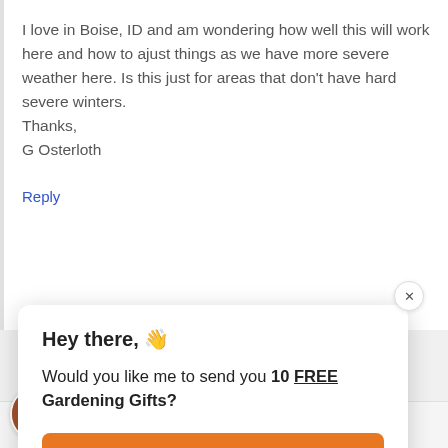I love in Boise, ID and am wondering how well this will work here and how to ajust things as we have more severe weather here. Is this just for areas that don't have hard severe winters.
Thanks,
G Osterloth
Reply
Hey there, 👋
Would you like me to send you 10 FREE Gardening Gifts?
YES, PLEASE!
[Figure (photo): Circular avatar photo of a man in a red shirt]
determine what to propagate? With there